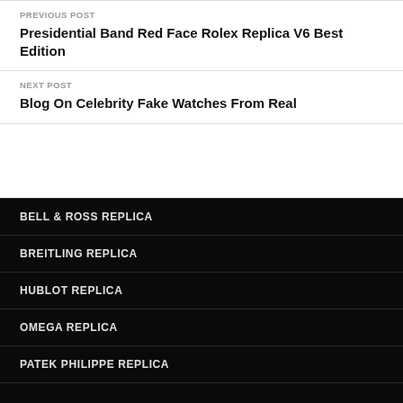PREVIOUS POST
Presidential Band Red Face Rolex Replica V6 Best Edition
NEXT POST
Blog On Celebrity Fake Watches From Real
BELL & ROSS REPLICA
BREITLING REPLICA
HUBLOT REPLICA
OMEGA REPLICA
PATEK PHILIPPE REPLICA